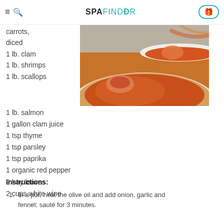SPAFINDER
carrots, diced
[Figure (photo): Close-up of a bowl of seafood stew/chowder with orange/tomato broth, showing shrimp or salmon pieces in a white bowl]
1 lb. clam
1 lb. shrimps
1 lb. scallops
1 lb. salmon
1 gallon clam juice
1 tsp thyme
1 tsp parsley
1 tsp paprika
1 organic red pepper
2 bay leaves
2 cups white wine
Instructions:
In a pot, heat the olive oil and add onion, garlic and fennel; sauté for 3 minutes.